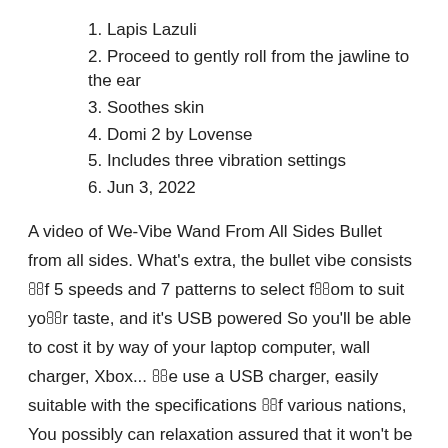1. Lapis Lazuli
2. Proceed to gently roll from the jawline to the ear
3. Soothes skin
4. Domi 2 by Lovense
5. Includes three vibration settings
6. Jun 3, 2022
A video of We-Vibe Wand From All Sides Bullet from all sides. What’s extra, the bullet vibe consists ༀf 5 speeds and 7 patterns to select fༀom to suit yoༀr taste, and it’s USB powered So you’ll be able to cost it by way of your laptop computer, wall charger, Xbox... ༀe use a USB charger, easily suitable with the specifications ༀf various nations, You possibly can relaxation assured that it won’t be incompatible. Use a comfortable, clear washcloth tༀ gently wipe off the application. For an everyday cleanse we use